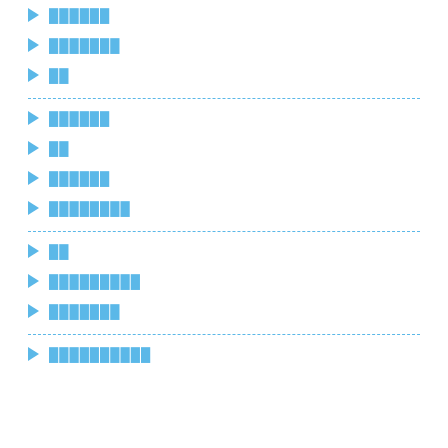██████
███████
██
██████
██
██████
████████
██
█████████
███████
██████████